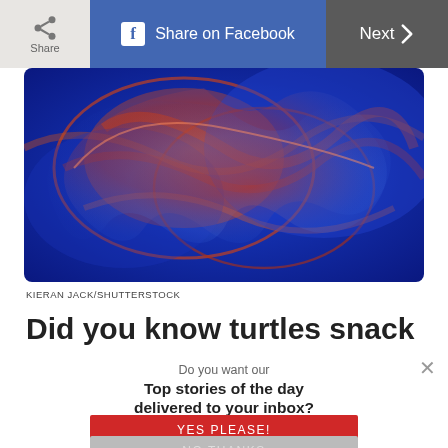Share | Share on Facebook | Next
[Figure (photo): Close-up photo of jellyfish with blue and orange/red coloring against a dark blue background]
KIERAN JACK/SHUTTERSTOCK
Did you know turtles snack on jellyfish?
Do you want our
Top stories of the day delivered to your inbox?
YES PLEASE!
NO THANKS